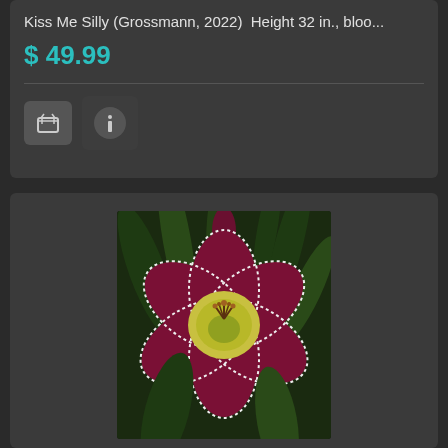Kiss Me Silly (Grossmann, 2022)  Height 32 in., bloo...
$ 49.99
[Figure (photo): A deep burgundy-red daylily flower with white ruffled petal edges and a yellow-green throat, stamens visible in the center, set against a background of green foliage.]